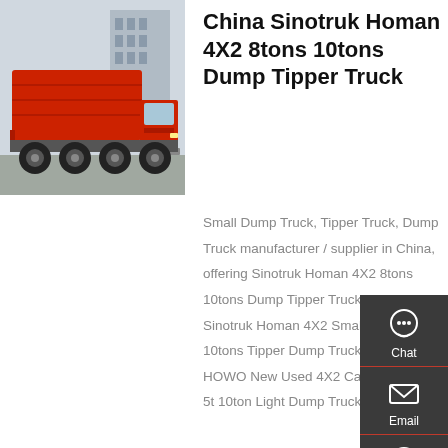[Figure (photo): Red Sinotruk Homan dump tipper truck parked outdoors with buildings in background]
China Sinotruk Homan 4X2 8tons 10tons Dump Tipper Truck
Small Dump Truck, Tipper Truck, Dump Truck manufacturer / supplier in China, offering Sinotruk Homan 4X2 8tons 10tons Dump Tipper Truck, Cheap Price Sinotruk Homan 4X2 Small Light Duty 10tons Tipper Dump Truck, Sinotruk HOWO New Used 4X2 Cargo Truck 3t 5t 10ton Light Dump Trucks ...